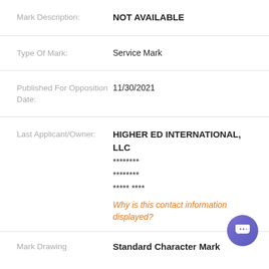Mark Description: NOT AVAILABLE
Type Of Mark: Service Mark
Published For Opposition Date: 11/30/2021
Last Applicant/Owner: HIGHER ED INTERNATIONAL, LLC
******** 
******** 
***** ****
Why is this contact information displayed?
Mark Drawing: Standard Character Mark